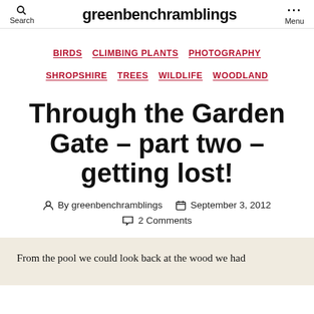greenbenchramblings
BIRDS  CLIMBING PLANTS  PHOTOGRAPHY  SHROPSHIRE  TREES  WILDLIFE  WOODLAND
Through the Garden Gate – part two – getting lost!
By greenbenchramblings  September 3, 2012  2 Comments
From the pool we could look back at the wood we had